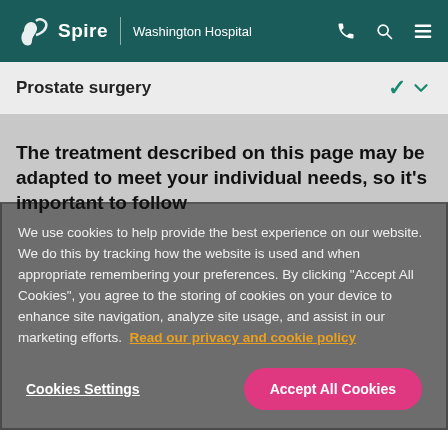Spire | Washington Hospital
Prostate surgery
The treatment described on this page may be adapted to meet your individual needs, so it's important to follow
We use cookies to help provide the best experience on our website. We do this by tracking how the website is used and when appropriate remembering your preferences. By clicking "Accept All Cookies", you agree to the storing of cookies on your device to enhance site navigation, analyze site usage, and assist in our marketing efforts. Read our privacy and cookie policy
Cookies Settings | Accept All Cookies